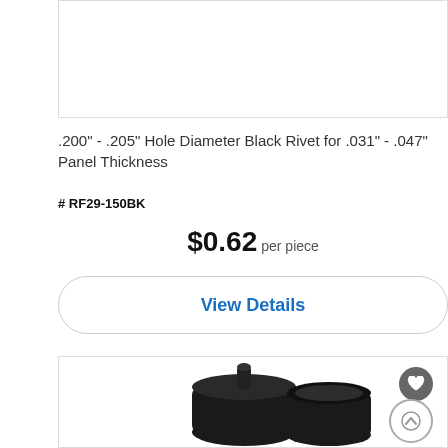[Figure (photo): Top portion of a product photo box, white background, mostly empty/cropped]
.200" - .205" Hole Diameter Black Rivet for .031" - .047" Panel Thickness
# RF29-150BK
$0.62 per piece
View Details
[Figure (photo): Two black plastic rivets/push-in fasteners shown side by side on white background, with a heart/favorite icon and an up-arrow scroll button overlaid on the right side]